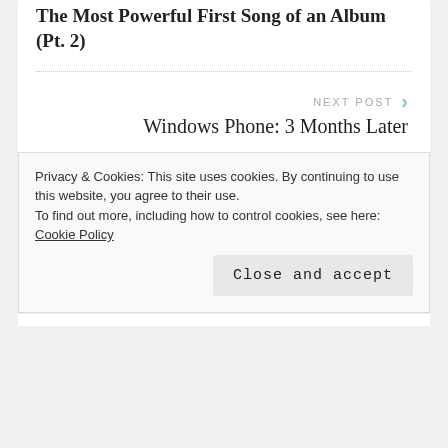The Most Powerful First Song of an Album (Pt. 2)
NEXT POST
Windows Phone: 3 Months Later
Leave a Reply
Your email address will not be published. Required fields are marked *
Privacy & Cookies: This site uses cookies. By continuing to use this website, you agree to their use.
To find out more, including how to control cookies, see here: Cookie Policy
Close and accept